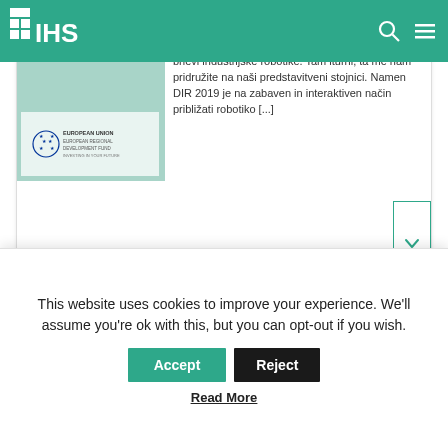[Figure (logo): IHS logo in white on green navbar background with grid icon]
ikultet za elektrotehniko v Ljubljani ravnokar pokata bnevi industrijske robotike. Tam iturni, ta me nam pridružite na naši predstavitveni stojnici. Namen DIR 2019 je na zabaven in interaktiven način približati robotiko [...]
[Figure (logo): European Union European Regional Development Fund logo]
[Figure (screenshot): Scroll down button with chevron/arrow icon, bordered in teal green]
[Figure (screenshot): Partial second article card with teal/green background]
This website uses cookies to improve your experience. We'll assume you're ok with this, but you can opt-out if you wish.
Accept
Reject
Read More